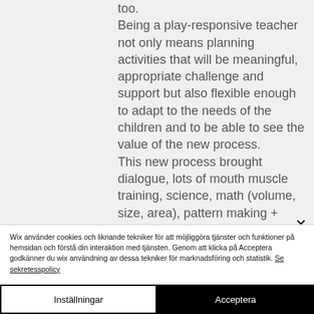too. Being a play-responsive teacher not only means planning activities that will be meaningful, appropriate challenge and support but also flexible enough to adapt to the needs of the children and to be able to see the value of the new process. This new process brought dialogue, lots of mouth muscle training, science, math (volume, size, area), pattern making +
Wix använder cookies och liknande tekniker för att möjliggöra tjänster och funktioner på hemsidan och förstå din interaktion med tjänsten. Genom att klicka på Acceptera godkänner du wix användning av dessa tekniker för marknadsföring och statistik. Se sekretesspolicy
Inställningar
Acceptera